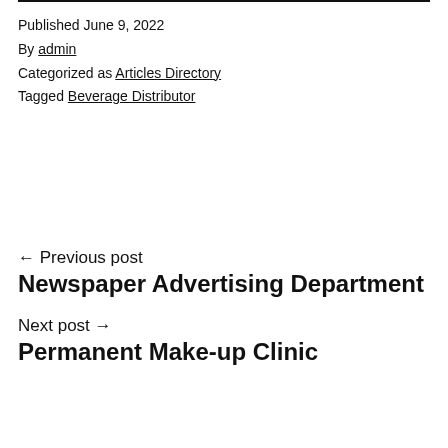Published June 9, 2022
By admin
Categorized as Articles Directory
Tagged Beverage Distributor
← Previous post
Newspaper Advertising Department
Next post →
Permanent Make-up Clinic